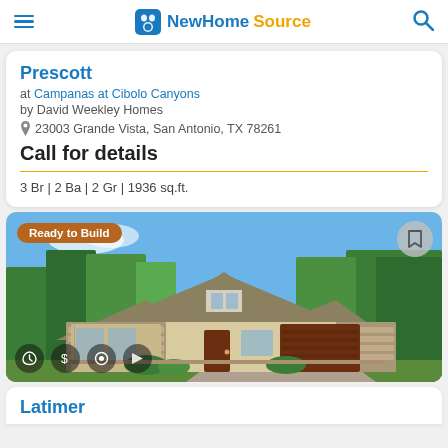NewHomeSource
Prescott
at Campanas at Cibolo Canyons
by David Weekley Homes
23003 Grande Vista, San Antonio, TX 78261
Call for details
3 Br | 2 Ba | 2 Gr | 1936 sq.ft.
[Figure (photo): Exterior rendering of a single-story stone and stucco home with brown roof, dark wood garage door, and trees in background. Badge: 'Ready to Build'.]
Latimer